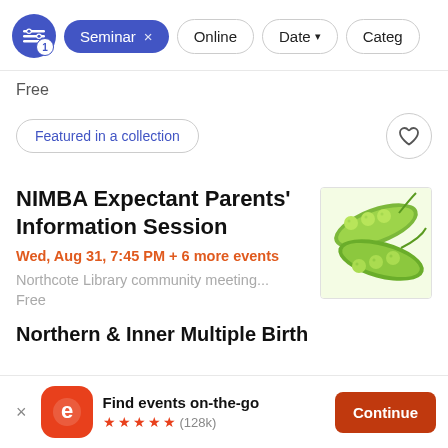[Figure (screenshot): Filter bar with controls: filter icon with badge 1, active 'Seminar' chip with X, 'Online', 'Date' with dropdown, and partial 'Categ' chip]
Free
Featured in a collection
NIMBA Expectant Parents' Information Session
Wed, Aug 31, 7:45 PM + 6 more events
Northcote Library community meeting...
Free
[Figure (illustration): Green pea pods illustration]
Northern & Inner Multiple Birth
Find events on-the-go ★★★★★ (128k)